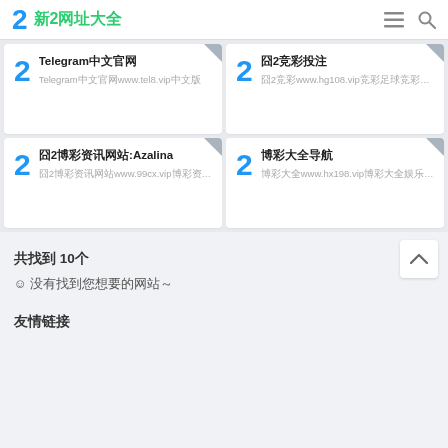2 新2网址大全
Telegram中文官网
Telegram中文官网www.tel8.vip中文版
囧2竞彩投注
囧2竞彩www.hg108.vip竞彩足球竞彩篮球
囧2博彩资讯网站:Azalina
囧2博彩资讯网站www.99cx.vip博彩资讯娱乐
博彩大全导航
博彩大全www.hx198.vip博彩大全娱乐导航
共找到 10个
☺ 没有找到您想要的网站～
友情链接